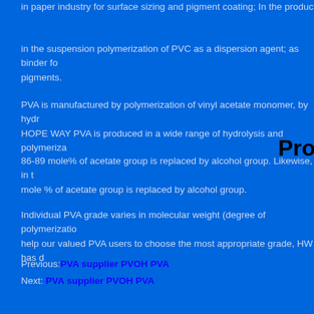in paper industry for surface sizing and pigment coating;  In the production of…
in the suspension polymerization of PVC as a dispersion agent; as binder for pigments.
PVA is manufactured by polymerization of vinyl acetate monomer, by hydro… HOPE WAY PVA is produced in a wide range of hydrolysis and polymeriza…
86-89 mole% of acetate group is replaced by alcohol group.  Likewise,  in t… mole % of acetate group is replaced by alcohol group.
Individual  PVA grade varies in molecular weight  (degree of polymerization)… help our valued PVA users to choose the most appropriate grade, HW has de…
Previous: PVA supplier PVOH PVA
Next: PVA supplier PVOH PVA
Pro